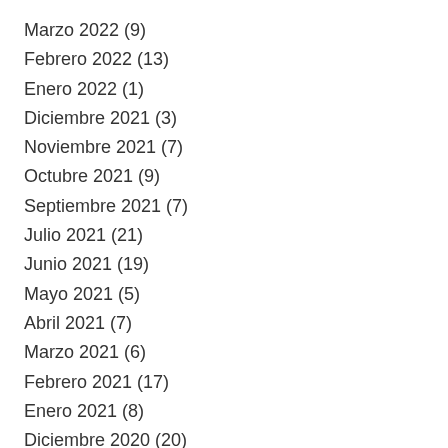Marzo 2022 (9)
Febrero 2022 (13)
Enero 2022 (1)
Diciembre 2021 (3)
Noviembre 2021 (7)
Octubre 2021 (9)
Septiembre 2021 (7)
Julio 2021 (21)
Junio 2021 (19)
Mayo 2021 (5)
Abril 2021 (7)
Marzo 2021 (6)
Febrero 2021 (17)
Enero 2021 (8)
Diciembre 2020 (20)